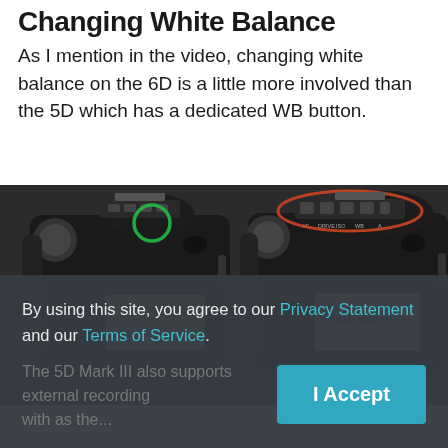Changing White Balance
As I mention in the video, changing white balance on the 6D is a little more involved than the 5D which has a dedicated WB button.
[Figure (photo): Two Canon DSLR cameras (6D and 5D) viewed from the top, with the WB button on the 6D highlighted in a green circle and the buttons on the 5D highlighted in a red/orange oval.]
By using this site, you agree to our Privacy Statement and our Terms of Service.
The 5D Mark III also supports external recording with as the...